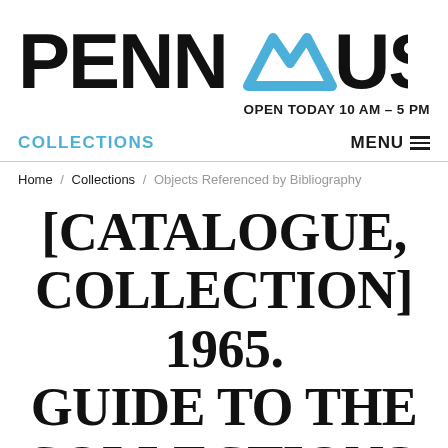[Figure (logo): Penn Museum logo with stylized M in blue and black text]
OPEN TODAY 10 AM – 5 PM
COLLECTIONS
MENU
Home / Collections / Objects Referenced by Bibliography
[CATALOGUE, COLLECTION] 1965. GUIDE TO THE COLLECTIONS, THE